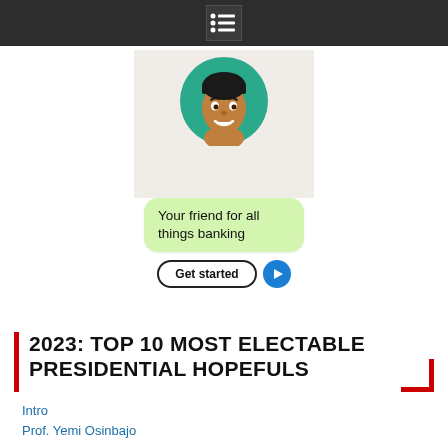Navigation menu bar
[Figure (illustration): Cartoon avatar of a young man on a teal circle background, with a light green chat bubble saying 'Your friend for all things banking' and a 'Get started' button with blue arrow below.]
2023: TOP 10 MOST ELECTABLE PRESIDENTIAL HOPEFULS
Intro
Prof. Yemi Osinbajo